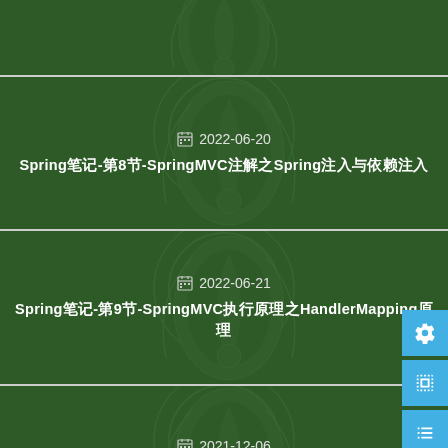[Figure (screenshot): Blog post card with dark green Spring framework background, partial top card visible]
2022-06-20 Spring笔记-第8节-SpringMVC注解之Spring注入与依赖注入
2022-06-21 Spring笔记-第9节-SpringMVC执行原理之HandlerMapping原理
2021-12-06 Spring笔记-第1节-Spring概述